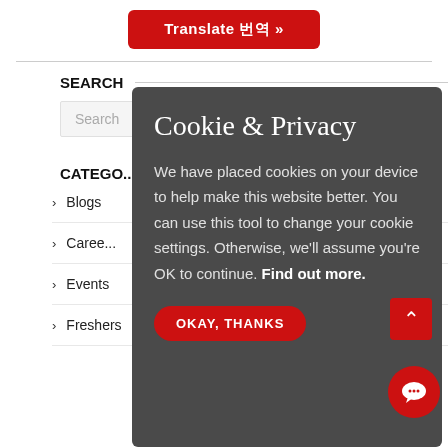[Figure (screenshot): Red 'Translate' button with Japanese characters and chevron]
SEARCH
Search
CATEGO...
Blogs
Caree...
Events
Freshers
Cookie & Privacy
We have placed cookies on your device to help make this website better. You can use this tool to change your cookie settings. Otherwise, we'll assume you're OK to continue. Find out more.
OKAY, THANKS